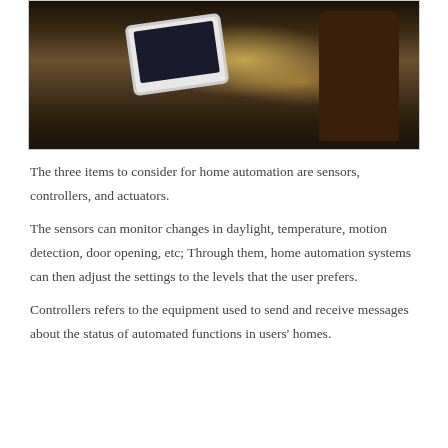[Figure (photo): A tablet computer resting on a granite kitchen island counter with bar stools/chairs visible in the background]
The three items to consider for home automation are sensors, controllers, and actuators.
The sensors can monitor changes in daylight, temperature, motion detection, door opening, etc; Through them, home automation systems can then adjust the settings to the levels that the user prefers.
Controllers refers to the equipment used to send and receive messages about the status of automated functions in users' homes.